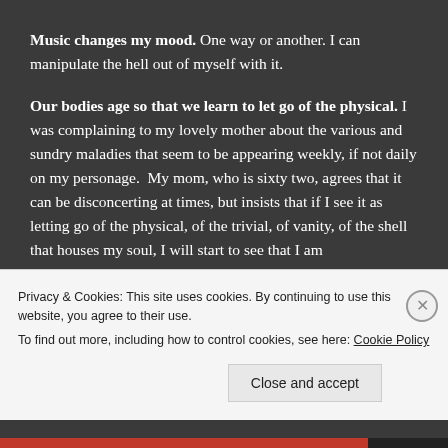Music changes my mood. One way or another. I can manipulate the hell out of myself with it.
Our bodies age so that we learn to let go of the physical. I was complaining to my lovely mother about the various and sundry maladies that seem to be appearing weekly, if not daily on my personage. My mom, who is sixty two, agrees that it can be disconcerting at times, but insists that if I see it as letting go of the physical, of the trivial, of vanity, of the shell that houses my soul, I will start to see that I am
Privacy & Cookies: This site uses cookies. By continuing to use this website, you agree to their use.
To find out more, including how to control cookies, see here: Cookie Policy
Close and accept